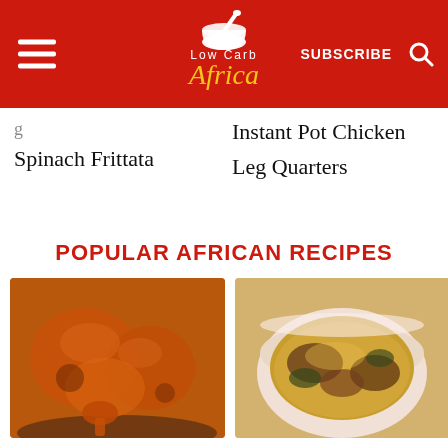[Figure (logo): Low Carb Africa logo with mortar and pestle icon, white text 'Low Carb' and gold italic 'Africa' on red header background. Navigation bar with hamburger menu, SUBSCRIBE link, and search icon.]
Spinach Frittata
Instant Pot Chicken Leg Quarters
POPULAR AFRICAN RECIPES
[Figure (photo): Roasted or braised chicken pieces in a dark skillet with orange-red sauce]
[Figure (photo): Stewed meat or fish in yellow broth in a white bowl]